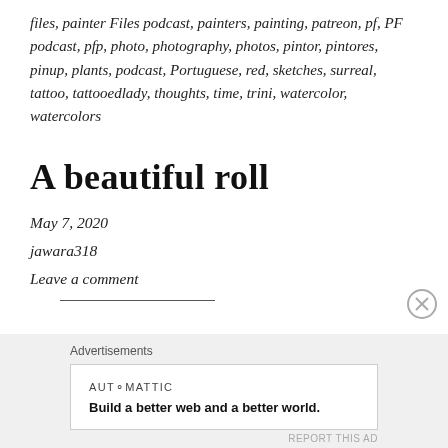files, painter Files podcast, painters, painting, patreon, pf, PF podcast, pfp, photo, photography, photos, pintor, pintores, pinup, plants, podcast, Portuguese, red, sketches, surreal, tattoo, tattooedlady, thoughts, time, trini, watercolor, watercolors
A beautiful roll
May 7, 2020
jawara318
Leave a comment
Advertisements
AUTOMATTIC
Build a better web and a better world.